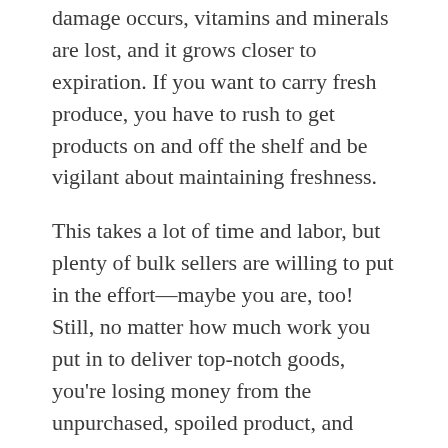damage occurs, vitamins and minerals are lost, and it grows closer to expiration. If you want to carry fresh produce, you have to rush to get products on and off the shelf and be vigilant about maintaining freshness.
This takes a lot of time and labor, but plenty of bulk sellers are willing to put in the effort—maybe you are, too! Still, no matter how much work you put in to deliver top-notch goods, you're losing money from the unpurchased, spoiled product, and your clients are getting lower-quality fruits and vegetables than they would if they bought IQF produce.
Fast frozen produce keeps all of its nutrients for a year or more, while fresh produce loses large amounts within days. At this point, it's clear that